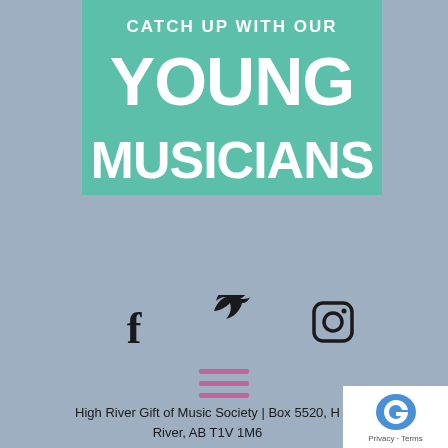[Figure (illustration): Teal/mint green banner with white bold text reading 'CATCH UP WITH OUR YOUNG MUSICIANS']
[Figure (infographic): Social media icons: Facebook (f), Twitter (bird), Instagram (camera) in black on grey background]
[Figure (infographic): Hamburger menu icon (three horizontal lines) in pink/magenta color]
High River Gift of Music Society | Box 5520, High River, AB T1V 1M6
[Figure (other): Google reCAPTCHA badge with Privacy and Terms text]